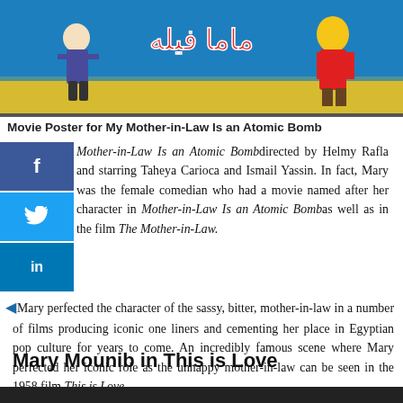[Figure (illustration): Movie poster for My Mother-in-Law Is an Atomic Bomb showing Arabic text in red on blue background with cartoon figures]
Movie Poster for My Mother-in-Law Is an Atomic Bomb
My Mother-in-Law Is an Atomic Bomb directed by Helmy Rafla and starring Taheya Carioca and Ismail Yassin. In fact, Mary was the female comedian who had a movie named after her character in Mother-in-Law Is an Atomic Bomb as well as in the film The Mother-in-Law.
Mary perfected the character of the sassy, bitter, mother-in-law in a number of films producing iconic one liners and cementing her place in Egyptian pop culture for years to come. An incredibly famous scene where Mary perfected her iconic role as the unhappy mother-in-law can be seen in the 1958 film This is Love.
Mary Mounib in This is Love